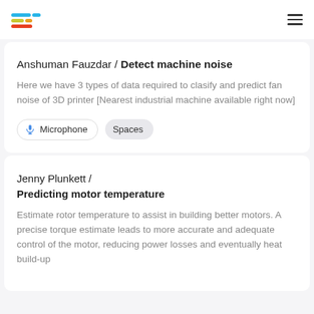Logo and navigation bar
Anshuman Fauzdar / Detect machine noise
Here we have 3 types of data required to clasify and predict fan noise of 3D printer [Nearest industrial machine available right now]
Microphone
Spaces
Jenny Plunkett / Predicting motor temperature
Estimate rotor temperature to assist in building better motors. A precise torque estimate leads to more accurate and adequate control of the motor, reducing power losses and eventually heat build-up